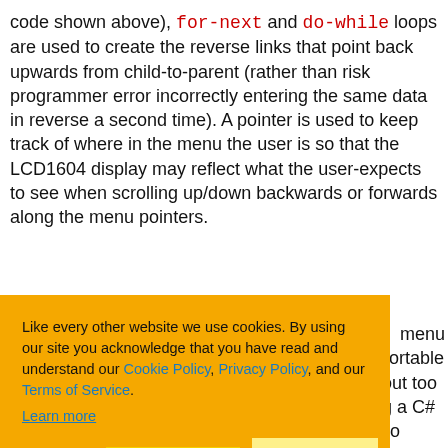code shown above), for-next and do-while loops are used to create the reverse links that point back upwards from child-to-parent (rather than risk programmer error incorrectly entering the same data in reverse a second time). A pointer is used to keep track of where in the menu the user is so that the LCD1604 display may reflect what the user-expects to see when scrolling up/down backwards or forwards along the menu pointers.
[Figure (other): Cookie consent overlay with orange background. Text: 'Like every other website we use cookies. By using our site you acknowledge that you have read and understand our Cookie Policy, Privacy Policy, and our Terms of Service. Learn more'. Buttons: 'Ask me later', 'Decline', 'Allow cookies'.]
menu but after comfortable without too writing a C# rduino ino menu and to implement it as designed when I get around to it